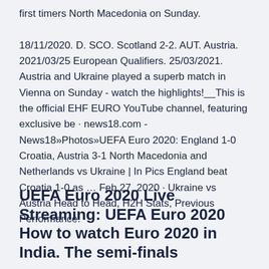first timers North Macedonia on Sunday.

18/11/2020. D. SCO. Scotland 2-2. AUT. Austria. 2021/03/25 European Qualifiers. 25/03/2021. Austria and Ukraine played a superb match in Vienna on Sunday - watch the highlights!__This is the official EHF EURO YouTube channel, featuring exclusive be · news18.com - News18»Photos»UEFA Euro 2020: England 1-0 Croatia, Austria 3-1 North Macedonia and Netherlands vs Ukraine | In Pics England beat Croatia 1-0 as … Feb 27, 2020 · Ukraine vs Austria Head to Head, H2H Stats, Previous Performance.
UEFA Euro 2020 Live Streaming: UEFA Euro 2020 How to watch Euro 2020 in India. The semi-finals